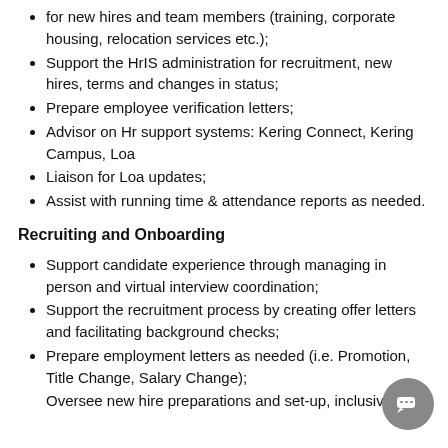for new hires and team members (training, corporate housing, relocation services etc.);
Support the HrIS administration for recruitment, new hires, terms and changes in status;
Prepare employee verification letters;
Advisor on Hr support systems: Kering Connect, Kering Campus, Loa
Liaison for Loa updates;
Assist with running time & attendance reports as needed.
Recruiting and Onboarding
Support candidate experience through managing in person and virtual interview coordination;
Support the recruitment process by creating offer letters and facilitating background checks;
Prepare employment letters as needed (i.e. Promotion, Title Change, Salary Change);
Oversee new hire preparations and set-up, inclusive